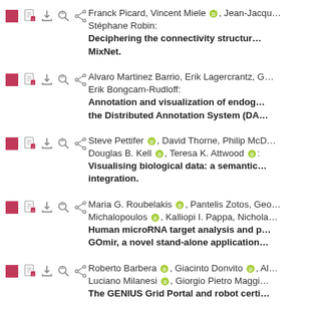Franck Picard, Vincent Miele, Jean-Jacques Stéphane Robin: Deciphering the connectivity structure MixNet.
Alvaro Martinez Barrio, Erik Lagercrantz, Erik Bongcam-Rudloff: Annotation and visualization of endog the Distributed Annotation System (DA
Steve Pettifer, David Thorne, Philip McD Douglas B. Kell, Teresa K. Attwood: Visualising biological data: a semantic integration.
Maria G. Roubelakis, Pantelis Zotos, Geo Michalopoulos, Kalliopi I. Pappa, Nichola Human microRNA target analysis and GOmir, a novel stand-alone application
Roberto Barbera, Giacinto Donvito, A Luciano Milanesi, Giorgio Pietro Maggi The GENIUS Grid Portal and robot certi